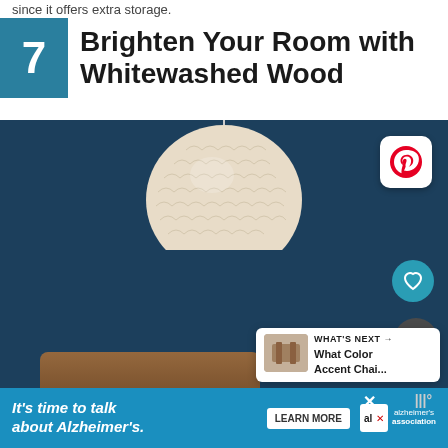since it offers extra storage.
7  Brighten Your Room with Whitewashed Wood
[Figure (photo): Interior design photo showing a capiz shell pendant lamp hanging against a dark navy blue wall, with a brown leather chair arm visible at the bottom. UI overlays include a Pinterest button, heart/save button, and share button. A 'What's Next' card shows 'What Color Accent Chai...']
WHAT'S NEXT → What Color Accent Chai...
It's time to talk about Alzheimer's. LEARN MORE